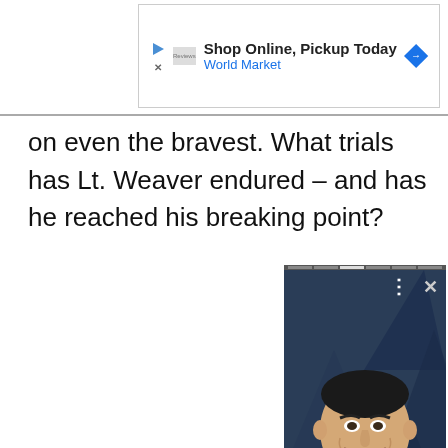[Figure (screenshot): Advertisement banner: 'Shop Online, Pickup Today / World Market' with play button icon, logo, and blue diamond navigation arrow icon]
on even the bravest. What trials has Lt. Weaver endured – and has he reached his breaking point?
[Figure (photo): Floating popup card showing a smiling Asian man in a tuxedo with bow tie at a formal event with blue geometric background. Card has three-dot menu and X close icons at top right, orange circular arrow button at bottom right, and small orange square at bottom left. Below the photo is a white panel.]
[Figure (illustration): Comic book style illustration showing a close-up of a stern-looking bald man's face with heavy brow, intense eyes, and strong jaw, rendered in green-tinted art style]